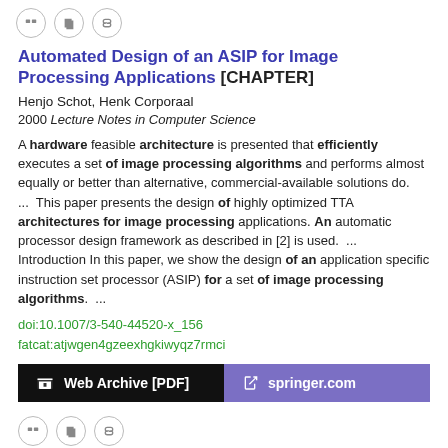Automated Design of an ASIP for Image Processing Applications [CHAPTER]
Henjo Schot, Henk Corporaal
2000 Lecture Notes in Computer Science
A hardware feasible architecture is presented that efficiently executes a set of image processing algorithms and performs almost equally or better than alternative, commercial-available solutions do.  ...  This paper presents the design of highly optimized TTA architectures for image processing applications. An automatic processor design framework as described in [2] is used.  ...  Introduction In this paper, we show the design of an application specific instruction set processor (ASIP) for a set of image processing algorithms.  ...
doi:10.1007/3-540-44520-x_156
fatcat:atjwgen4gzeexhgkiwyqz7rmci
[Figure (other): Two buttons: 'Web Archive [PDF]' (black background) and 'springer.com' (purple background)]